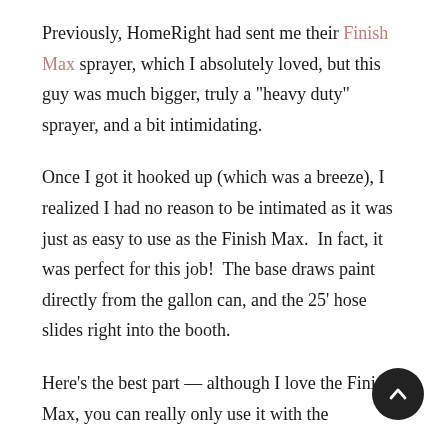Previously, HomeRight had sent me their Finish Max sprayer, which I absolutely loved, but this guy was much bigger, truly a "heavy duty" sprayer, and a bit intimidating.
Once I got it hooked up (which was a breeze), I realized I had no reason to be intimated as it was just as easy to use as the Finish Max.  In fact, it was perfect for this job!  The base draws paint directly from the gallon can, and the 25' hose slides right into the booth.
Here's the best part — although I love the Finish Max, you can really only use it with the